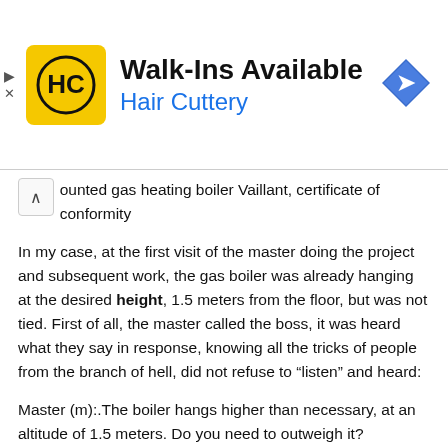[Figure (infographic): Advertisement banner for Hair Cuttery with yellow HC logo, text 'Walk-Ins Available' and 'Hair Cuttery' in blue, and a blue diamond directional road sign icon on the right. Left side has play and close controls.]
ounted gas heating boiler Vaillant, certificate of conformity
In my case, at the first visit of the master doing the project and subsequent work, the gas boiler was already hanging at the desired height, 1.5 meters from the floor, but was not tied. First of all, the master called the boss, it was heard what they say in response, knowing all the tricks of people from the branch of hell, did not refuse to “listen” and heard:
Master (m):.The boiler hangs higher than necessary, at an altitude of 1.5 meters. Do you need to outweigh it?
Head (H):.They have already tied him?